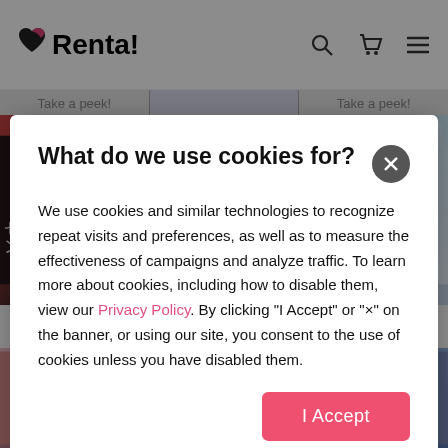Renta!
[Figure (screenshot): Two manga book covers partially visible: left shows a Japanese manga cover with dark-haired character, right shows 'PRINCE ON ICE' manga cover with light-haired character]
What do we use cookies for?
We use cookies and similar technologies to recognize repeat visits and preferences, as well as to measure the effectiveness of campaigns and analyze traffic. To learn more about cookies, including how to disable them, view our Privacy Policy. By clicking "I Accept" or "×" on the banner, or using our site, you consent to the use of cookies unless you have disabled them.